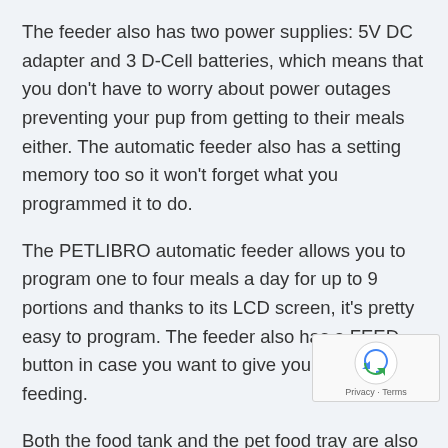The feeder also has two power supplies: 5V DC adapter and 3 D-Cell batteries, which means that you don't have to worry about power outages preventing your pup from getting to their meals either. The automatic feeder also has a setting memory too so it won't forget what you programmed it to do.
The PETLIBRO automatic feeder allows you to program one to four meals a day for up to 9 portions and thanks to its LCD screen, it's pretty easy to program. The feeder also has a FEED button in case you want to give your pet an extra feeding.
Both the food tank and the pet food tray are also